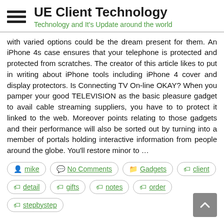UE Client Technology — Technology and It's Update around the world
with varied options could be the dream present for them. An iPhone 4s case ensures that your telephone is protected and protected from scratches. The creator of this article likes to put in writing about iPhone tools including iPhone 4 cover and display protectors. Is Connecting TV On-line OKAY? When you pamper your good TELEVISION as the basic pleasure gadget to avail cable streaming suppliers, you have to to protect it linked to the web. Moreover points relating to those gadgets and their performance will also be sorted out by turning into a member of portals holding interactive information from people around the globe. You'll restore minor to ...
mike
No Comments
Gadgets
client
detail
gifts
notes
order
stepbystep